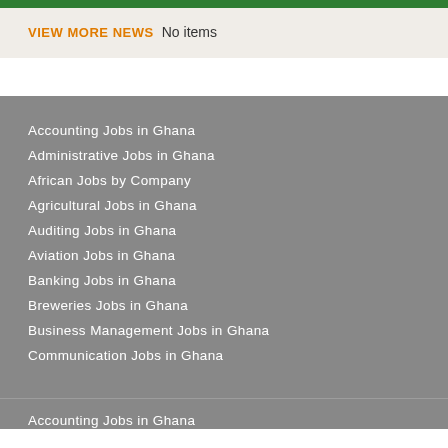VIEW MORE NEWS  No items
Accounting Jobs in Ghana
Administrative Jobs in Ghana
African Jobs by Company
Agricultural Jobs in Ghana
Auditing Jobs in Ghana
Aviation Jobs in Ghana
Banking Jobs in Ghana
Breweries Jobs in Ghana
Business Management Jobs in Ghana
Communication Jobs in Ghana
Accounting Jobs in Ghana